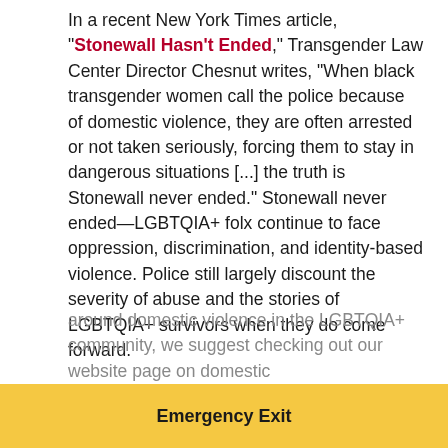In a recent New York Times article, "Stonewall Hasn't Ended," Transgender Law Center Director Chesnut writes, "When black transgender women call the police because of domestic violence, they are often arrested or not taken seriously, forcing them to stay in dangerous situations [...] the truth is Stonewall never ended." Stonewall never ended—LGBTQIA+ folx continue to face oppression, discrimination, and identity-based violence. Police still largely discount the severity of abuse and the stories of LGBTQIA+ survivors when they do come forward.

LGBTQIA+ individuals deserve equality, safety, and dignity. They deserve equal support services, access to care, and opportunities. While Women's Advocates provides safe shelter for LGBTQIA+ survivors, not all organizations do. The first step to changing these facts is understanding. For those new to the conversation around domestic violence in the LGBTQIA+ community, we suggest checking out our website page on domestic
Emergency Exit